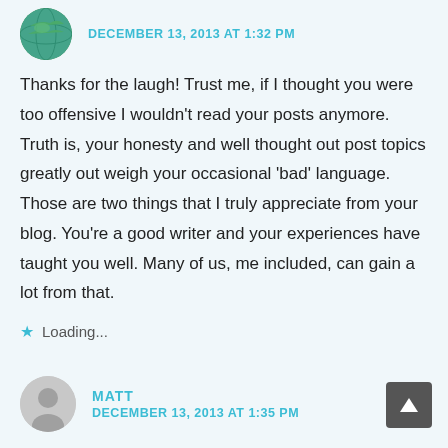DECEMBER 13, 2013 AT 1:32 PM
Thanks for the laugh! Trust me, if I thought you were too offensive I wouldn't read your posts anymore. Truth is, your honesty and well thought out post topics greatly out weigh your occasional ‘bad’ language. Those are two things that I truly appreciate from your blog. You’re a good writer and your experiences have taught you well. Many of us, me included, can gain a lot from that.
Loading...
MATT
DECEMBER 13, 2013 AT 1:35 PM